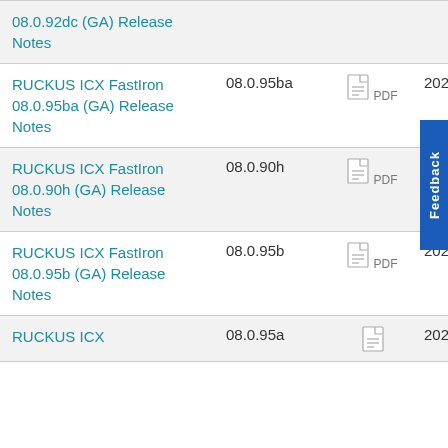| Name | Version | Format | Date |
| --- | --- | --- | --- |
| RUCKUS ICX FastIron 08.0.92dc (GA) Release Notes |  | PDF |  |
| RUCKUS ICX FastIron 08.0.95ba (GA) Release Notes | 08.0.95ba | PDF | 2020-11-11 |
| RUCKUS ICX FastIron 08.0.90h (GA) Release Notes | 08.0.90h | PDF | 2020-11-19 |
| RUCKUS ICX FastIron 08.0.95b (GA) Release Notes | 08.0.95b | PDF | 2020-11-03 |
| RUCKUS ICX ... | 08.0.95a | PDF | 2020-10- |
Feedback